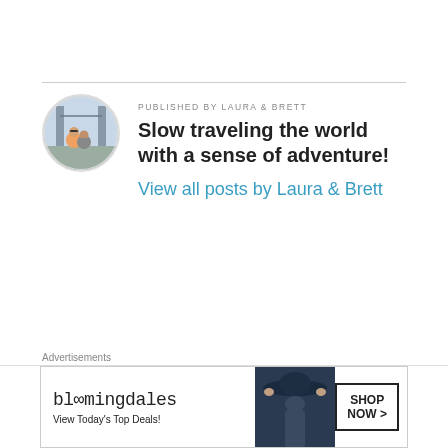[Figure (photo): Circular avatar photo of two people (Laura and Brett) in front of Tower Bridge, London]
PUBLISHED BY LAURA & BRETT
Slow traveling the world with a sense of adventure!
View all posts by Laura & Brett
Advertisements
[Figure (other): Bloomingdale's advertisement banner: bloomingdales logo with text 'View Today's Top Deals!', a model wearing a wide-brim hat, and a 'SHOP NOW >' button]